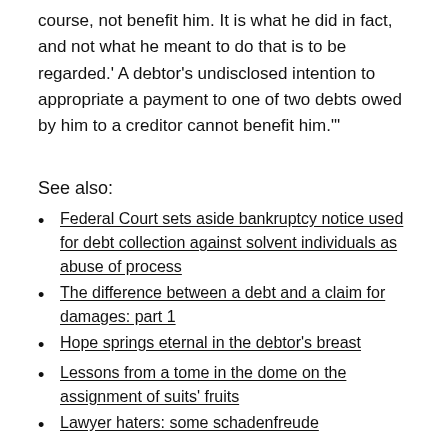course, not benefit him. It is what he did in fact, and not what he meant to do that is to be regarded.' A debtor's undisclosed intention to appropriate a payment to one of two debts owed by him to a creditor cannot benefit him."'
See also:
Federal Court sets aside bankruptcy notice used for debt collection against solvent individuals as abuse of process
The difference between a debt and a claim for damages: part 1
Hope springs eternal in the debtor's breast
Lessons from a tome in the dome on the assignment of suits' fruits
Lawyer haters: some schadenfreude